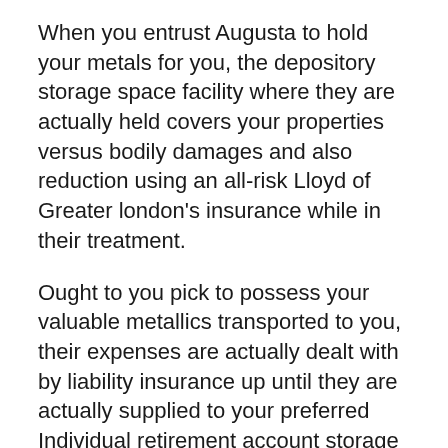When you entrust Augusta to hold your metals for you, the depository storage space facility where they are actually held covers your properties versus bodily damages and also reduction using an all-risk Lloyd of Greater london's insurance while in their treatment.
Ought to you pick to possess your valuable metallics transported to you, their expenses are actually dealt with by liability insurance up until they are actually supplied to your preferred Individual retirement account storage space establishment.
Chart of Augusta Precious Metals Storage Space Facilities.
Precious metals in a self-directed gold individual retirement account are actually held at...